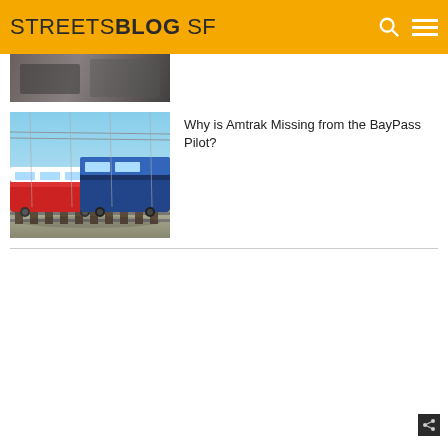STREETSBLOG SF
[Figure (photo): Partially visible article thumbnail at top — appears to show a person near a vehicle or outdoor scene]
[Figure (photo): Two trains on railway tracks — one red and white, one blue — under overhead wires]
Why is Amtrak Missing from the BayPass Pilot?